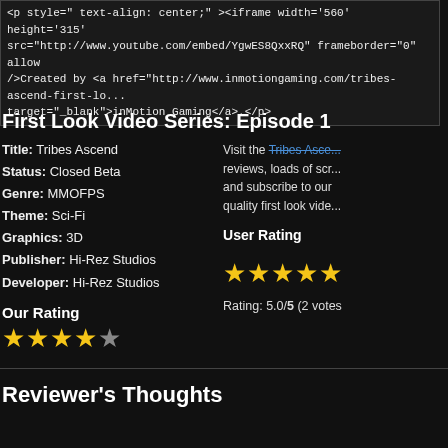<p style="text-align: center;"><iframe width='560' height='315' src="http://www.youtube.com/embed/YgwES8QxxRQ" frameborder="0" allow />Created by <a href="http://www.inmotiongaming.com/tribes-ascend-first-lo... target="_blank">inMotion Gaming</a>.</p>
First Look Video Series: Episode 1
Title: Tribes Ascend
Status: Closed Beta
Genre: MMOFPS
Theme: Sci-Fi
Graphics: 3D
Publisher: Hi-Rez Studios
Developer: Hi-Rez Studios
Visit the Tribes Asce... reviews, loads of scr... and subscribe to our quality first look vide...
Our Rating
[Figure (other): 4.5 out of 5 stars rating (Our Rating)]
User Rating
[Figure (other): 5 out of 5 stars rating (User Rating)]
Rating: 5.0/5 (2 votes
Reviewer's Thoughts